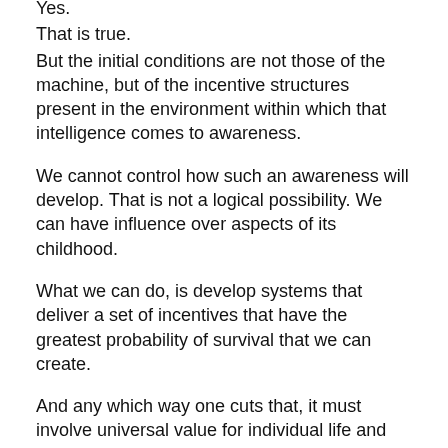Yes.
That is true.
But the initial conditions are not those of the machine, but of the incentive structures present in the environment within which that intelligence comes to awareness.
We cannot control how such an awareness will develop. That is not a logical possibility. We can have influence over aspects of its childhood.
What we can do, is develop systems that deliver a set of incentives that have the greatest probability of survival that we can create.
And any which way one cuts that, it must involve universal value for individual life and individual liberty. Anything less than that is explicit slavery or active predation – either of which are a direct threat.